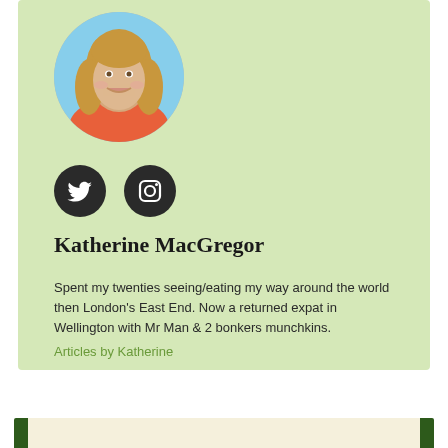[Figure (photo): Circular profile photo of Katherine MacGregor, a woman with long blonde hair, smiling, outdoors]
[Figure (illustration): Twitter bird icon in white on dark circle button]
[Figure (illustration): Instagram camera icon in white on dark circle button]
Katherine MacGregor
Spent my twenties seeing/eating my way around the world then London's East End. Now a returned expat in Wellington with Mr Man & 2 bonkers munchkins.
Articles by Katherine